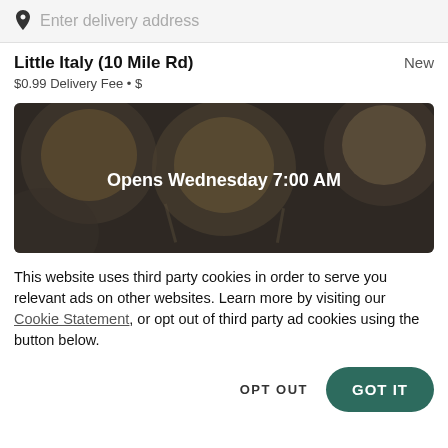Enter delivery address
Little Italy (10 Mile Rd)
$0.99 Delivery Fee • $
[Figure (photo): Food delivery app hero image showing coffee cups and pastries on a dark wooden table, with overlay text 'Opens Wednesday 7:00 AM']
This website uses third party cookies in order to serve you relevant ads on other websites. Learn more by visiting our Cookie Statement, or opt out of third party ad cookies using the button below.
OPT OUT
GOT IT